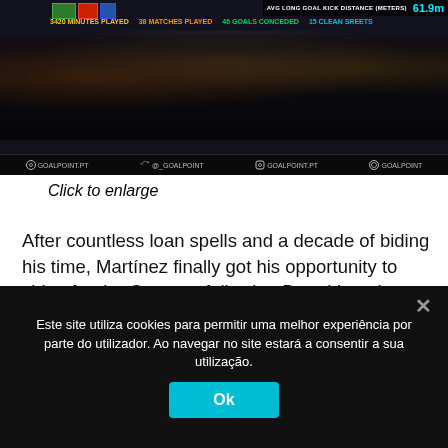[Figure (screenshot): GoalPoint.pt football stats infographic showing goalkeeper statistics including avg long goal kick distance 61.9m, 3420 minutes played, 38 matches played, 46 goals conceded, 15 clean sheets. Social media icons for goalpoint.pt at bottom.]
Click to enlarge
After countless loan spells and a decade of biding his time, Martínez finally got his opportunity to shine for the Gunners following Bernd Leno's injury on June 20, 2020, but with the club preferring the German as the long-term option between the sticks, the Argentine elected to leave for Aston Villa. What was once a previously leaky position for them has now been fortified by Martínez, who has equalled Brad Friedel's
Este site utiliza cookies para permitir uma melhor experiência por parte do utilizador. Ao navegar no site estará a consentir a sua utilização.